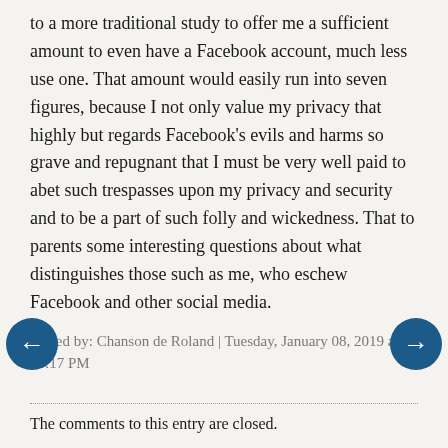to a more traditional study to offer me a sufficient amount to even have a Facebook account, much less use one. That amount would easily run into seven figures, because I not only value my privacy that highly but regards Facebook's evils and harms so grave and repugnant that I must be very well paid to abet such trespasses upon my privacy and security and to be a part of such folly and wickedness. That to parents some interesting questions about what distinguishes those such as me, who eschew Facebook and other social media.
Posted by: Chanson de Roland | Tuesday, January 08, 2019 at 03:17 PM
The comments to this entry are closed.